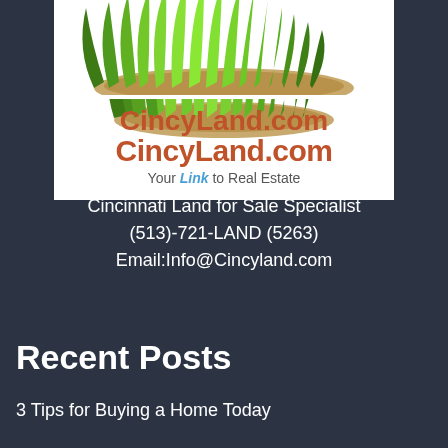[Figure (logo): CincyLand.com logo with green grass illustration on white background and text 'Your Link to Real Estate']
Cincinnati Land for Sale Specialist
(513)-721-LAND (5263)
Email:Info@Cincyland.com
Recent Posts
3 Tips for Buying a Home Today